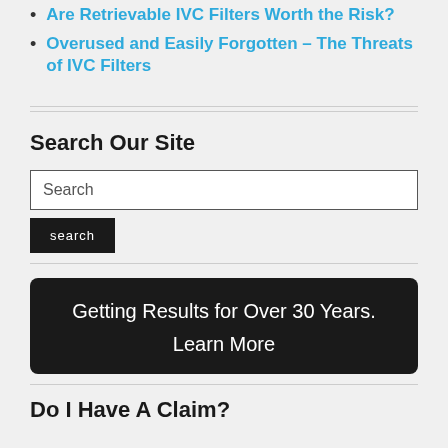Are Retrievable IVC Filters Worth the Risk?
Overused and Easily Forgotten – The Threats of IVC Filters
Search Our Site
Search [input field]
search [button]
[Figure (other): Dark rounded rectangle banner reading: Getting Results for Over 30 Years. Learn More]
Do I Have A Claim?